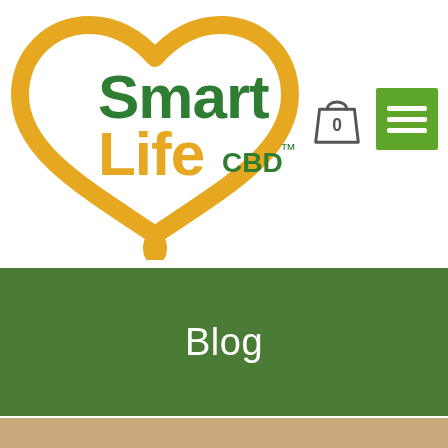[Figure (logo): Smart Life CBD logo: golden heart outline with green 'Smart' text and golden 'Life' text plus small 'CBD TM' in green, with a golden oil drop at the bottom of the heart]
[Figure (infographic): Shopping cart icon with '0' badge and green hamburger menu button]
Blog
[Figure (photo): Partial photo of a person visible at the bottom of the page]